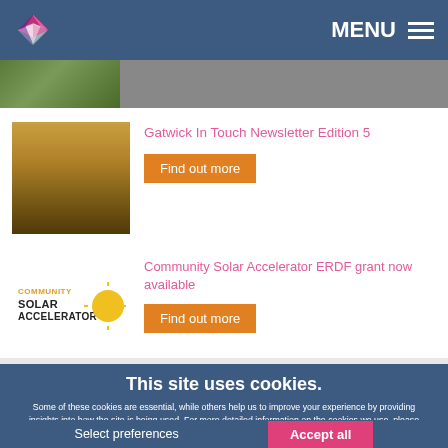MENU
[Figure (photo): Partial aerial photo thumbnail at top]
Gatwick In Touch Newsletter Edition 5
Find out more
[Figure (logo): Community Solar Accelerator logo with yellow sun icon]
Community Solar Accelerator ERDF grant now available
Find out more
This site uses cookies.
Some of these cookies are essential, while others help us to improve your experience by providing insights into how the site is being used. For more detailed information on the cookies we use, please check our Privacy Policy
Select preferences
Accept all